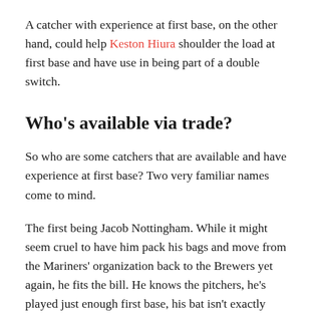A catcher with experience at first base, on the other hand, could help Keston Hiura shoulder the load at first base and have use in being part of a double switch.
Who's available via trade?
So who are some catchers that are available and have experience at first base? Two very familiar names come to mind.
The first being Jacob Nottingham. While it might seem cruel to have him pack his bags and move from the Mariners' organization back to the Brewers yet again, he fits the bill. He knows the pitchers, he's played just enough first base, his bat isn't exactly